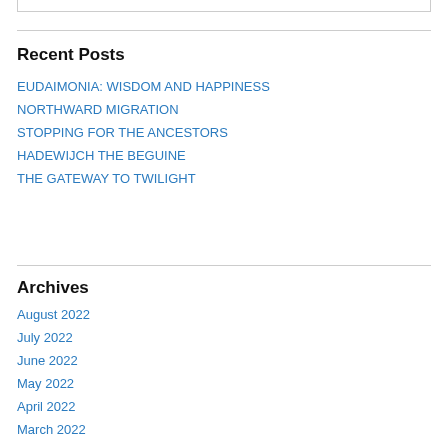Recent Posts
EUDAIMONIA: WISDOM AND HAPPINESS
NORTHWARD MIGRATION
STOPPING FOR THE ANCESTORS
HADEWIJCH THE BEGUINE
THE GATEWAY TO TWILIGHT
Archives
August 2022
July 2022
June 2022
May 2022
April 2022
March 2022
February 2022